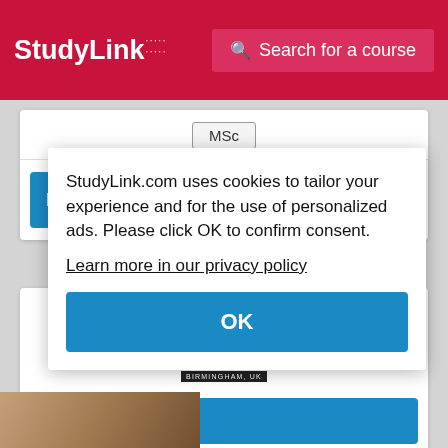[Figure (screenshot): StudyLink website header with red background showing StudyLink logo on the left and a 'Search for a course' button on the right]
MSc
Find out more
[Figure (logo): Aston University Birmingham UK logo with purple triangle above the text]
Find
StudyLink.com uses cookies to tailor your experience and for the use of personalized ads. Please click OK to confirm consent.
Learn more in our privacy policy
OK